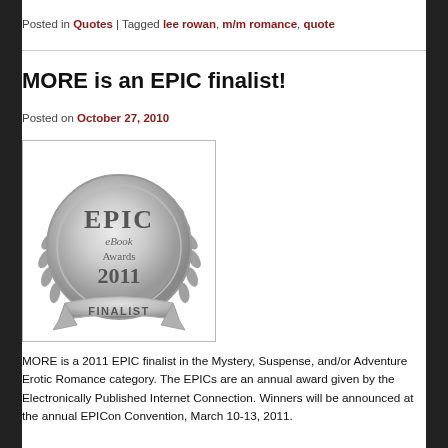Posted in Quotes | Tagged lee rowan, m/m romance, quote
MORE is an EPIC finalist!
Posted on October 27, 2010
[Figure (logo): EPIC eBook Awards 2011 Finalist silver medallion badge with laurel wreath]
MORE is a 2011 EPIC finalist in the Mystery, Suspense, and/or Adventure Erotic Romance category. The EPICs are an annual award given by the Electronically Published Internet Connection. Winners will be announced at the annual EPICon Convention, March 10-13, 2011.